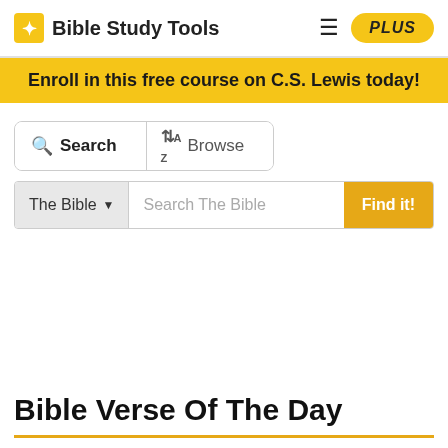Bible Study Tools | PLUS
Enroll in this free course on C.S. Lewis today!
Search | Browse
The Bible ▾  Search The Bible  Find it!
Bible Verse Of The Day